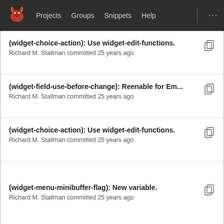Projects  Groups  Snippets  Help  ...
(widget-choice-action): Use widget-edit-functions.
Richard M. Stallman committed 25 years ago
(widget-field-use-before-change): Reenable for Em...
Richard M. Stallman committed 25 years ago
(widget-choice-action): Use widget-edit-functions.
Richard M. Stallman committed 25 years ago
(widget-menu-minibuffer-flag): New variable.
Richard M. Stallman committed 25 years ago
(widget-choice-action): Use widget-edit-functions.